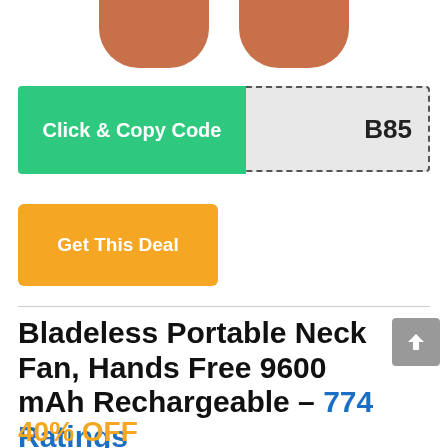[Figure (photo): Partial product image showing two skin-colored oval/cylindrical shapes (neck fan arms) against white background, cropped at top]
[Figure (infographic): Coupon row: green 'Click & Copy Code' button on left and dashed-border gray box with code 'B85' on right]
[Figure (infographic): Orange 'Get This Deal' button]
Bladeless Portable Neck Fan, Hands Free 9600 mAh Rechargeable – 774 Ratings
40% OFF